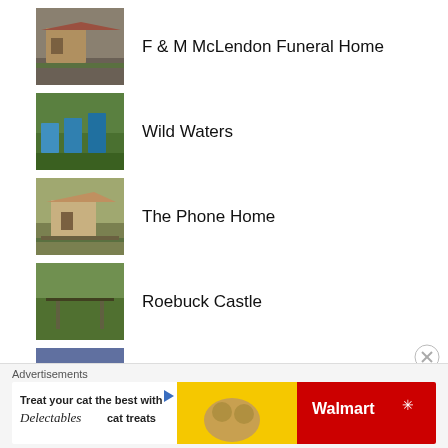F & M McLendon Funeral Home
Wild Waters
The Phone Home
Roebuck Castle
Governor's House Hotel
Advertisements
[Figure (other): Advertisement banner: Treat your cat the best with Delectables cat treats - Walmart]
Advertisements